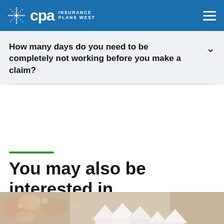CPA Insurance Plans West
How many days do you need to be completely not working before you make a claim?
You may also be interested in
[Figure (photo): Partial view of a decorative image at the bottom of the page, showing what appears to be model houses and floral decor]